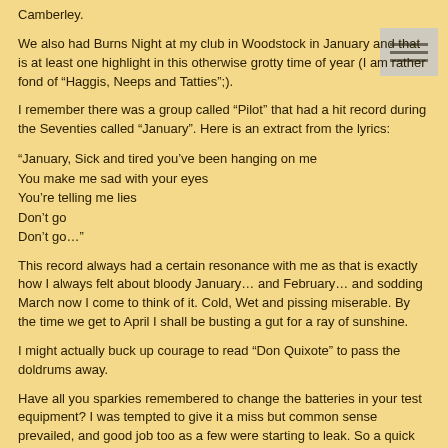Camberley.
We also had Burns Night at my club in Woodstock in January and that is at least one highlight in this otherwise grotty time of year (I am rather fond of “Haggis, Neeps and Tatties”;).
I remember there was a group called “Pilot” that had a hit record during the Seventies called “January”. Here is an extract from the lyrics:
“January, Sick and tired you’ve been hanging on me
You make me sad with your eyes
You’re telling me lies
Don’t go
Don’t go…”
This record always had a certain resonance with me as that is exactly how I always felt about bloody January… and February… and sodding March now I come to think of it. Cold, Wet and pissing miserable. By the time we get to April I shall be busting a gut for a ray of sunshine.
I might actually buck up courage to read “Don Quixote” to pass the doldrums away.
Have all you sparkies remembered to change the batteries in your test equipment? I was tempted to give it a miss but common sense prevailed, and good job too as a few were starting to leak. So a quick clean up and a squirt of WD40 probably saved me a couple of hundred quid, let alone equipment failure just when it’s needed.